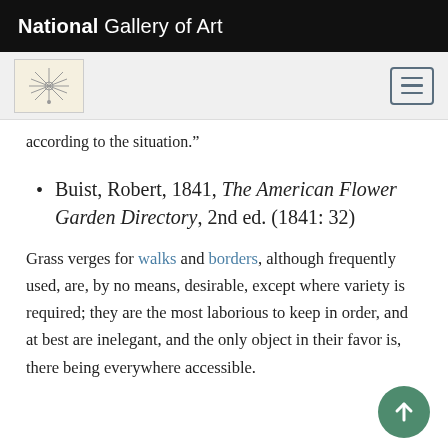National Gallery of Art
according to the situation.”
Buist, Robert, 1841, The American Flower Garden Directory, 2nd ed. (1841: 32)
Grass verges for walks and borders, although frequently used, are, by no means, desirable, except where variety is required; they are the most laborious to keep in order, and at best are inelegant, and the only object in their favor is, there being everywhere accessible.